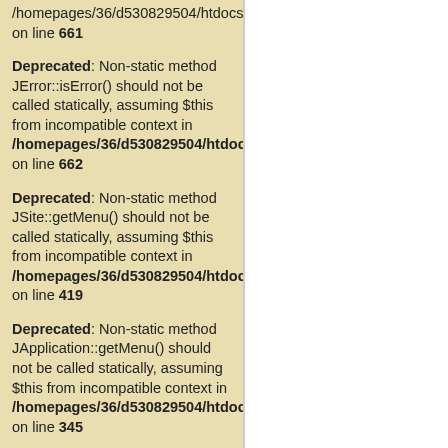/homepages/36/d530829504/htdocs on line 661
Deprecated: Non-static method JError::isError() should not be called statically, assuming $this from incompatible context in /homepages/36/d530829504/htdocs on line 662
Deprecated: Non-static method JSite::getMenu() should not be called statically, assuming $this from incompatible context in /homepages/36/d530829504/htdocs on line 419
Deprecated: Non-static method JApplication::getMenu() should not be called statically, assuming $this from incompatible context in /homepages/36/d530829504/htdocs on line 345
Strict Standards: Non-static method JLoader::import() should not be called statically in /homepages/36/d530829504/htdocs on line 186